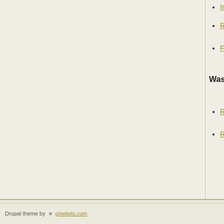Index to Register of Outrages in Virgin...
Register of Outrages Committed on Fr...
Freedmens Bureau Report of Abuses c...
Washington D. C.
Report of outrages committed on Unic...
Report of Outrages
Drupal theme by ★ pixeljets.com